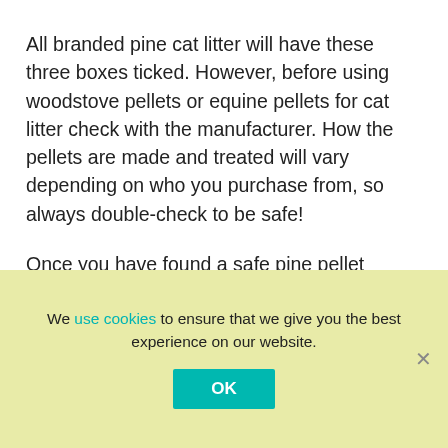All branded pine cat litter will have these three boxes ticked. However, before using woodstove pellets or equine pellets for cat litter check with the manufacturer. How the pellets are made and treated will vary depending on who you purchase from, so always double-check to be safe!
Once you have found a safe pine pellet option, I could not recommend using pine pellets as cat litter more. They are great for cats and people with
We use cookies to ensure that we give you the best experience on our website.